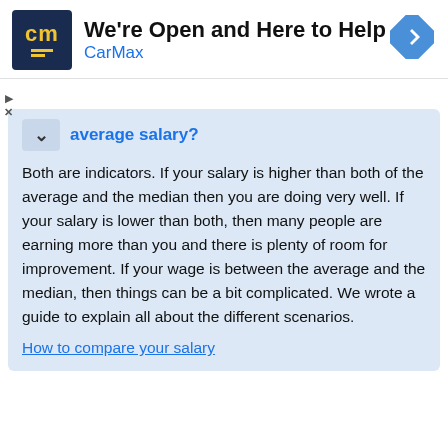[Figure (screenshot): CarMax advertisement banner with logo, title 'We're Open and Here to Help', brand name 'CarMax', and a navigation arrow icon]
average salary?
Both are indicators. If your salary is higher than both of the average and the median then you are doing very well. If your salary is lower than both, then many people are earning more than you and there is plenty of room for improvement. If your wage is between the average and the median, then things can be a bit complicated. We wrote a guide to explain all about the different scenarios.
How to compare your salary